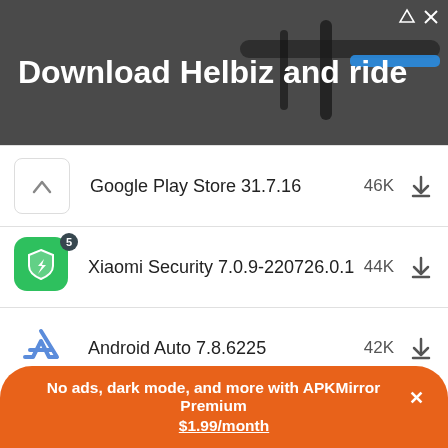[Figure (screenshot): Advertisement banner with text 'Download Helbiz and ride' over a dark background showing a scooter handlebar]
Google Play Store 31.7.16 46K
Xiaomi Security 7.0.9-220726.0.1 44K
Android Auto 7.8.6225 42K
Xiaomi Themes 2.1.0.3-global 40K
Android Auto 7.9.6231 36K
No ads, dark mode, and more with APKMirror Premium × $1.99/month